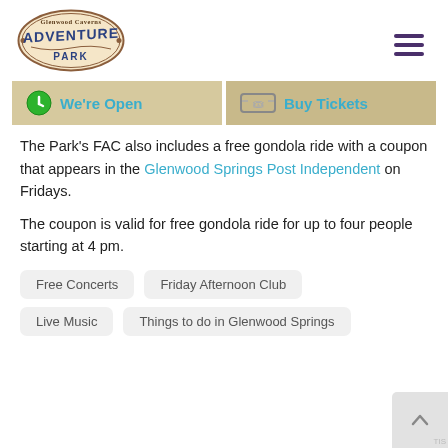[Figure (logo): Glenwood Caverns Adventure Park logo — shield/badge shape with brown border, 'Glenwood Caverns' text above stylized 'ADVENTURE PARK' lettering]
The Park's FAC also includes a free gondola ride with a coupon that appears in the Glenwood Springs Post Independent on Fridays.
The coupon is valid for free gondola ride for up to four people starting at 4 pm.
Free Concerts
Friday Afternoon Club
Live Music
Things to do in Glenwood Springs